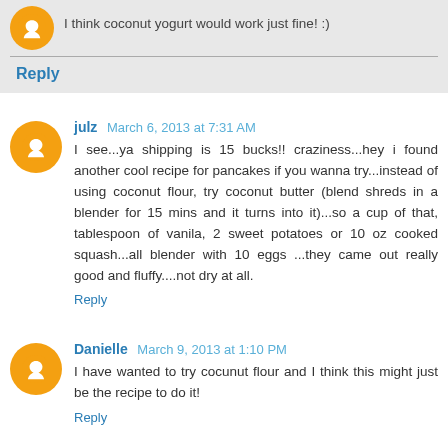I think coconut yogurt would work just fine! :)
Reply
julz March 6, 2013 at 7:31 AM
I see...ya shipping is 15 bucks!! craziness...hey i found another cool recipe for pancakes if you wanna try...instead of using coconut flour, try coconut butter (blend shreds in a blender for 15 mins and it turns into it)...so a cup of that, tablespoon of vanila, 2 sweet potatoes or 10 oz cooked squash...all blender with 10 eggs ...they came out really good and fluffy....not dry at all.
Reply
Danielle March 9, 2013 at 1:10 PM
I have wanted to try cocunut flour and I think this might just be the recipe to do it!
Reply